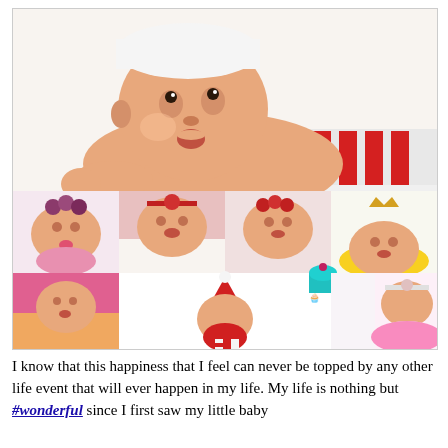[Figure (photo): A collage of baby photos. Top: large photo of a chubby baby lying on stomach wearing a white hat, looking up, with a red and white striped blanket. Bottom row 1: four photos of babies with various headbands/accessories on white backgrounds. Bottom row 2: babies in various costumes including Santa hat, pink tutu, inside a glass bowl; emoji stickers (rainbow heart, cupcake, lips) overlaid.]
I know that this happiness that I feel can never be topped by any other life event that will ever happen in my life. My life is nothing but #wonderful since I first saw my little baby...